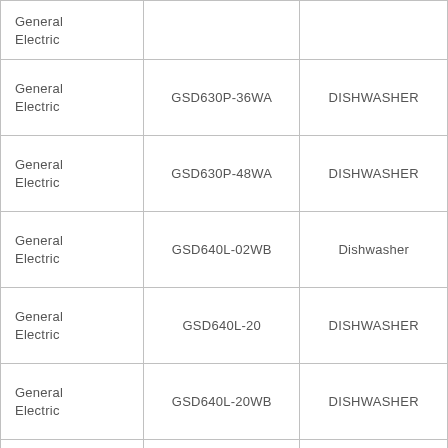| General Electric |  |  |
| General Electric | GSD630P-36WA | DISHWASHER |
| General Electric | GSD630P-48WA | DISHWASHER |
| General Electric | GSD640L-02WB | Dishwasher |
| General Electric | GSD640L-20 | DISHWASHER |
| General Electric | GSD640L-20WB | DISHWASHER |
| General Electric |  |  |